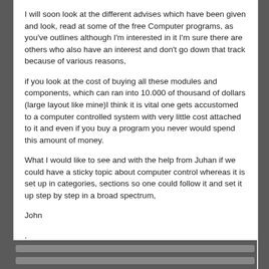I will soon look at the different advises which have been given and look, read at some of the free Computer programs, as you've outlines although I'm interested in it I'm sure there are others who also have an interest and don't go down that track because of various reasons,
if you look at the cost of buying all these modules and components, which can ran into 10.000 of thousand of dollars (large layout like mine)I think it is vital one gets accustomed to a computer controlled system with very little cost attached to it and even if you buy a program you never would spend this amount of money.
What I would like to see and with the help from Juhan if we could have a sticky topic about computer control whereas it is set up in categories, sections so one could follow it and set it up step by step in a broad spectrum,
John
.
https://www.youtube.com/river6109
https://www.youtube.com/6109river
5 years in Destruction mode
50 years in Repairing mode